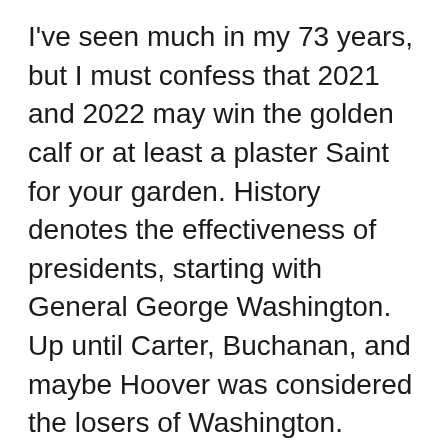I've seen much in my 73 years, but I must confess that 2021 and 2022 may win the golden calf or at least a plaster Saint for your garden. History denotes the effectiveness of presidents, starting with General George Washington. Up until Carter, Buchanan, and maybe Hoover was considered the losers of Washington. Jimmy and Rosiland Carter can rest easy now; our current president has taken the flaming torch and is leading a parade down Pennsylvania Avenue. He thinks he is going to light the Olympic flame. Please, Jill, take